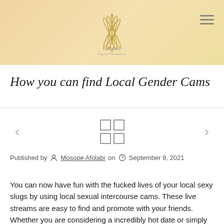[Figure (logo): Website logo for 'toftyinc' or similar brand with feather/leaf graphic motif]
How you can find Local Gender Cams
[Figure (infographic): Navigation row with left arrow, grid/menu icon (four squares), and right arrow]
Published by Mosope Afolabi on September 9, 2021
You can now have fun with the fucked lives of your local sexy slugs by using local sexual intercourse cams. These live streams are easy to find and promote with your friends. Whether you are considering a incredibly hot date or simply want to view a number of your favorite skanks, these webcams will have you covered! Having a live stream from the neighborhood erotica cam has